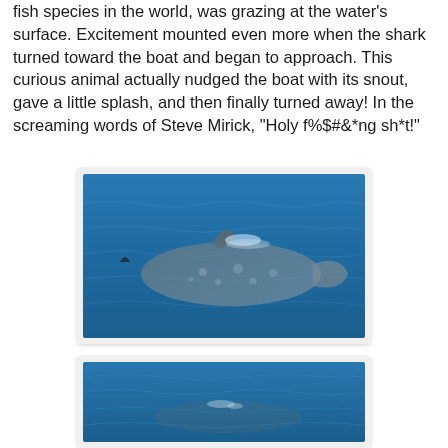fish species in the world, was grazing at the water's surface. Excitement mounted even more when the shark turned toward the boat and began to approach. This curious animal actually nudged the boat with its snout, gave a little splash, and then finally turned away! In the screaming words of Steve Mirick, "Holy f%$#&*ng sh*t!"
[Figure (photo): Aerial or high-angle view of a large whale shark visible just beneath the surface of deep blue ocean water, with its distinctive spotted pattern and dorsal fin breaking the surface.]
[Figure (photo): High-angle view of blue ocean water with a faint outline of a large marine animal (whale shark) visible just below the surface, with small whitecaps visible.]